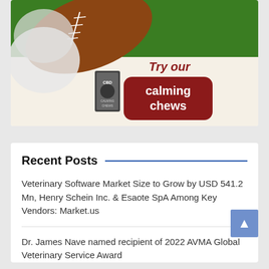[Figure (illustration): Advertisement image showing a dog with a football on grass, with a product package and a dark red rounded button reading 'calming chews' and text 'Try our' above it on a cream background.]
Recent Posts
Veterinary Software Market Size to Grow by USD 541.2 Mn, Henry Schein Inc. & Esaote SpA Among Key Vendors: Market.us
Dr. James Nave named recipient of 2022 AVMA Global Veterinary Service Award